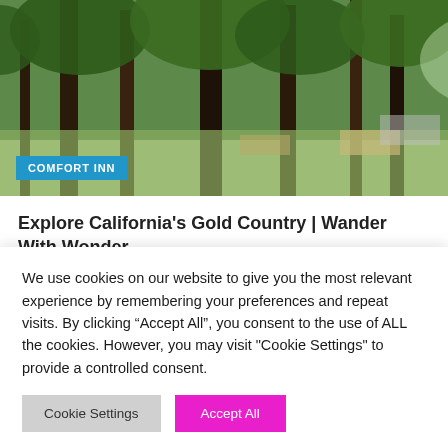[Figure (photo): Outdoor scene at Comfort Inn with tall pine trees, picnic tables, and a structure/building visible in the background under bright sunlight.]
Explore California's Gold Country | Wander With Wonder
26/08/2022   Sarah Renata
[Figure (photo): Partial view of a dark image partially visible in gray section, appears to show ski poles or similar objects.]
We use cookies on our website to give you the most relevant experience by remembering your preferences and repeat visits. By clicking “Accept All”, you consent to the use of ALL the cookies. However, you may visit "Cookie Settings" to provide a controlled consent.